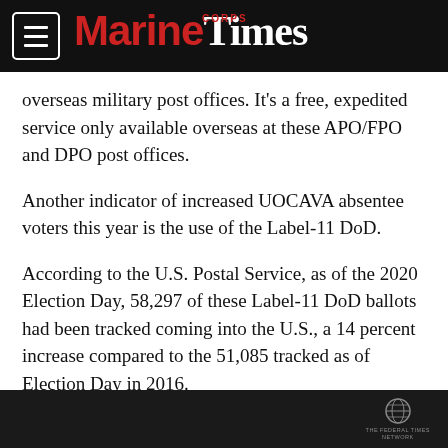Marine Corps Times
overseas military post offices. It’s a free, expedited service only available overseas at these APO/FPO and DPO post offices.
Another indicator of increased UOCAVA absentee voters this year is the use of the Label-11 DoD.
According to the U.S. Postal Service, as of the 2020 Election Day, 58,297 of these Label-11 DoD ballots had been tracked coming into the U.S., a 14 percent increase compared to the 51,085 tracked as of Election Day in 2016.
[Figure (other): Dark advertisement banner at bottom of page with a globe/eagle logo and small text]